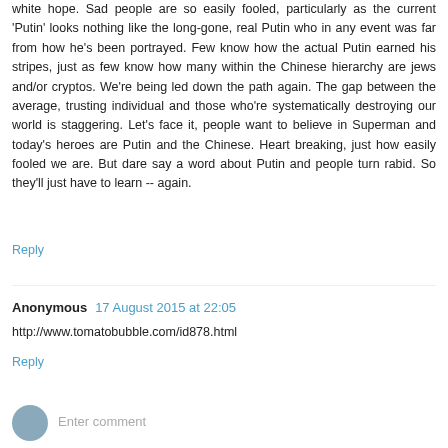white hope. Sad people are so easily fooled, particularly as the current 'Putin' looks nothing like the long-gone, real Putin who in any event was far from how he's been portrayed. Few know how the actual Putin earned his stripes, just as few know how many within the Chinese hierarchy are jews and/or cryptos. We're being led down the path again. The gap between the average, trusting individual and those who're systematically destroying our world is staggering. Let's face it, people want to believe in Superman and today's heroes are Putin and the Chinese. Heart breaking, just how easily fooled we are. But dare say a word about Putin and people turn rabid. So they'll just have to learn -- again.
Reply
Anonymous 17 August 2015 at 22:05
http://www.tomatobubble.com/id878.html
Reply
Enter comment